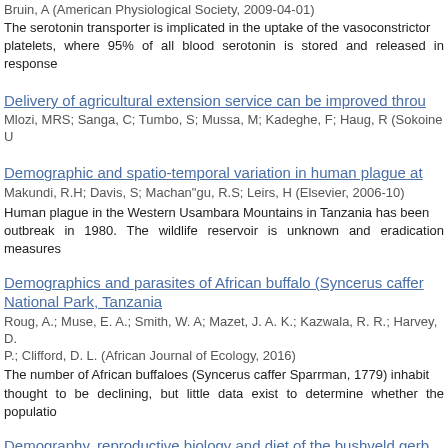Bruin, A (American Physiological Society, 2009-04-01)
The serotonin transporter is implicated in the uptake of the vasoconstrictor platelets, where 95% of all blood serotonin is stored and released in response
Delivery of agricultural extension service can be improved throu
Mlozi, MRS; Sanga, C; Tumbo, S; Mussa, M; Kadeghe, F; Haug, R (Sokoine U
Demographic and spatio-temporal variation in human plague at
Makundi, R.H; Davis, S; Machan"gu, R.S; Leirs, H (Elsevier, 2006-10)
Human plague in the Western Usambara Mountains in Tanzania has been outbreak in 1980. The wildlife reservoir is unknown and eradication measures
Demographics and parasites of African buffalo (Syncerus caffer National Park, Tanzania
Roug, A.; Muse, E. A.; Smith, W. A; Mazet, J. A. K.; Kazwala, R. R.; Harvey, D. P.; Clifford, D. L. (African Journal of Ecology, 2016)
The number of African buffaloes (Syncerus caffer Sparrman, 1779) inhabit thought to be declining, but little data exist to determine whether the populatio
Demography, reproductive biology and diet of the bushveld gerb Gerbillinae) in the Lake Rukwa valley, south-western Tanzania